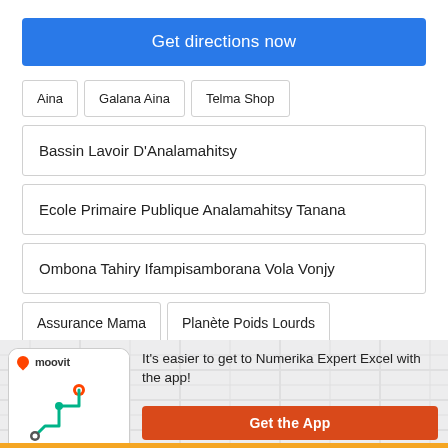Get directions now
Aina
Galana Aina
Telma Shop
Bassin Lavoir D'Analamahitsy
Ecole Primaire Publique Analamahitsy Tanana
Ombona Tahiry Ifampisamborana Vola Vonjy
Assurance Mama
Planète Poids Lourds
[Figure (screenshot): Moovit app promotional banner with phone screenshot showing route map, text: It's easier to get to Numerika Expert Excel with the app!, and orange Get the App button]